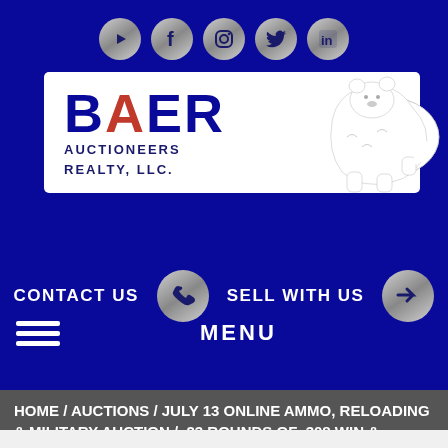[Figure (logo): Social media icons row: YouTube, Facebook, Instagram, Twitter, LinkedIn — circular silver gradient buttons on dark blue background]
[Figure (logo): Baer Auctioneers Realty LLC logo — white box with large navy BAER text, red A, subtext AUCTIONEERS REALTY LLC, and bear illustration on right]
CONTACT US    SELL WITH US
MENU
HOME / AUCTIONS / JULY 13 ONLINE AMMO, RELOADING & MILITARY AUCTION /  23 ROUNDS OF .308 WIN & BRASS